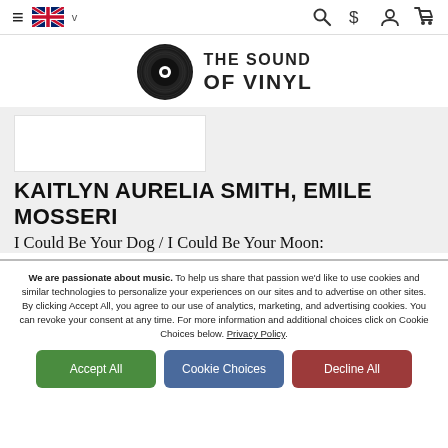Navigation bar with hamburger menu, UK flag language selector, search, currency, account, and cart icons
[Figure (logo): The Sound of Vinyl logo — vinyl record icon with text THE SOUND OF VINYL]
[Figure (other): Product image placeholder (white rectangle)]
KAITLYN AURELIA SMITH, EMILE MOSSERI
I Could Be Your Dog / I Could Be Your Moon:
We are passionate about music. To help us share that passion we'd like to use cookies and similar technologies to personalize your experiences on our sites and to advertise on other sites. By clicking Accept All, you agree to our use of analytics, marketing, and advertising cookies. You can revoke your consent at any time. For more information and additional choices click on Cookie Choices below. Privacy Policy.
Accept All
Cookie Choices
Decline All